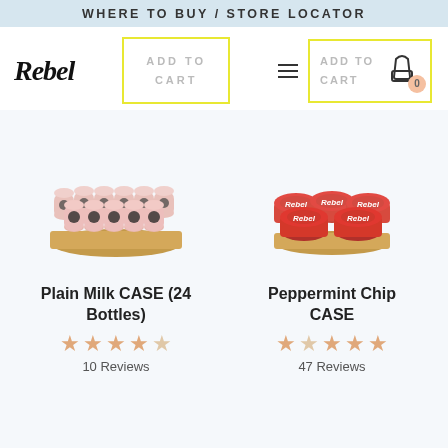WHERE TO BUY / STORE LOCATOR
[Figure (screenshot): Rebel logo and two 'ADD TO CART' button panels in navigation row]
[Figure (photo): Case of 24 plain milk bottles on a cardboard tray]
[Figure (photo): Case of Peppermint Chip ice cream cups in red containers on a cardboard tray]
Plain Milk CASE (24 Bottles)
10 Reviews
Peppermint Chip CASE
47 Reviews